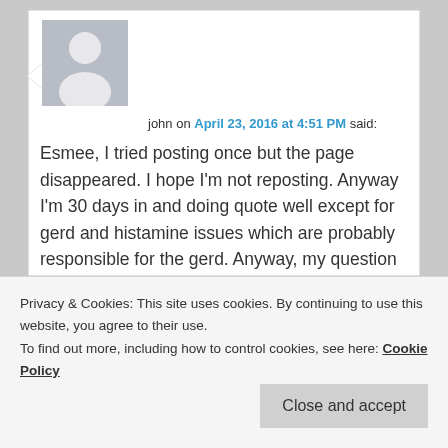[Figure (illustration): Generic user avatar placeholder: grey square with white silhouette of a person (head and shoulders)]
john on April 23, 2016 at 4:51 PM said:
Esmee, I tried posting once but the page disappeared. I hope I'm not reposting. Anyway I'm 30 days in and doing quote well except for gerd and histamine issues which are probably responsible for the gerd. Anyway, my question is have you had any relief from this horrible histamine issue. Does broth help? Does fasting help? Will time cure this? I can only find out what it
Privacy & Cookies: This site uses cookies. By continuing to use this website, you agree to their use.
To find out more, including how to control cookies, see here: Cookie Policy